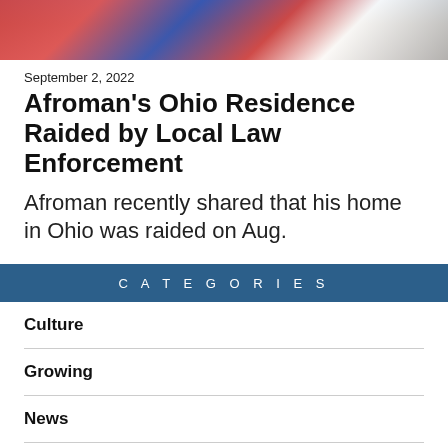[Figure (photo): Partial photo of Afroman cropped at the bottom of the image strip at top of page]
September 2, 2022
Afroman's Ohio Residence Raided by Local Law Enforcement
Afroman recently shared that his home in Ohio was raided on Aug.
CATEGORIES
Culture
Growing
News
Toronto